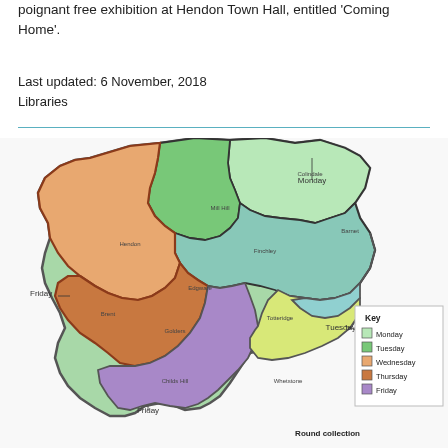poignant free exhibition at Hendon Town Hall, entitled 'Coming Home'.
Last updated: 6 November, 2018
Libraries
[Figure (map): A colour-coded map of the London Borough of Barnet showing waste collection rounds by day of the week. Areas are shaded in light green (Monday), dark green (Tuesday), orange/tan (Wednesday), brown/dark orange (Thursday), and purple/grey (Friday). A legend labelled 'Key' lists the five days with their corresponding colours. The bottom right corner shows the text 'Round collection'. Area labels and day labels (Monday, Tuesday, Friday) are annotated on the map.]